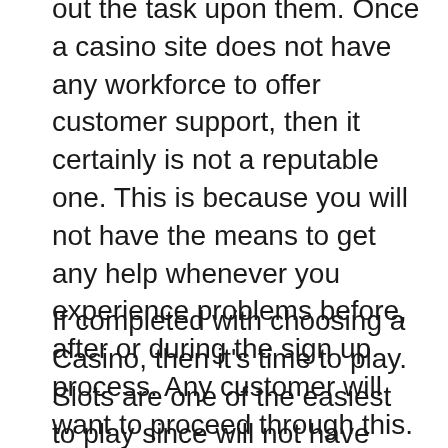out the task upon them. Once a casino site does not have any workforce to offer customer support, then it certainly is not a reputable one. This is because you will not have the means to get any help whenever you experience problems before, after or during the sign up process. Any customer will want to proceed through this.
If completed with choosing a Casino, then it's time to play. Slots are one of the easiest to play since will not have complicated rules nor does it require methods to win. Some other words, a farmer will just need to depend on his good luck, when there is any.
Most casinos only allow visitors aged 21 and above. Carrying anyone too young for gaming will cause the management to put